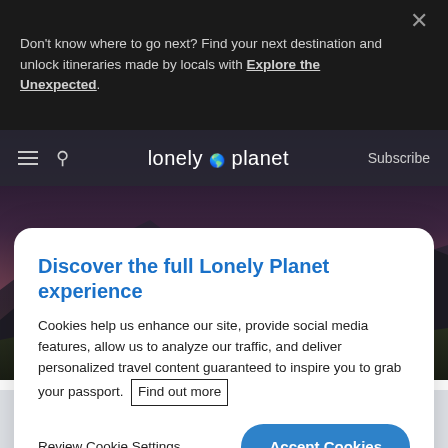Don't know where to go next? Find your next destination and unlock itineraries made by locals with Explore the Unexpected.
[Figure (screenshot): Lonely Planet website navigation bar with hamburger menu, search icon, Lonely Planet logo with globe icon, and Subscribe link]
[Figure (photo): Mountain landscape at dusk with jagged peaks silhouetted against a purple-orange sky]
Discover the full Lonely Planet experience
Cookies help us enhance our site, provide social media features, allow us to analyze our traffic, and deliver personalized travel content guaranteed to inspire you to grab your passport. Find out more
Review Cookie Settings
Accept Cookies
Tasmania